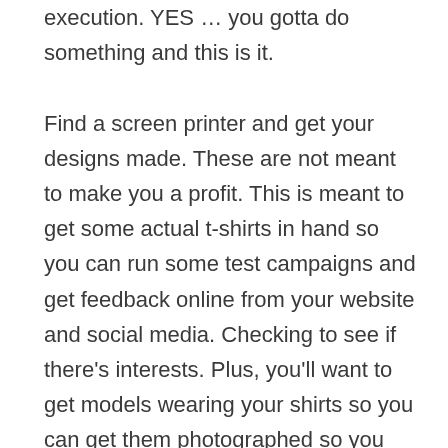execution. YES … you gotta do something and this is it.

Find a screen printer and get your designs made. These are not meant to make you a profit. This is meant to get some actual t-shirts in hand so you can run some test campaigns and get feedback online from your website and social media. Checking to see if there's interests. Plus, you'll want to get models wearing your shirts so you can get them photographed so you can later make catalogs and get your designs put onto a website... Check out these few shirts we got shot by a photographer (my wife shoots photographs professionally).